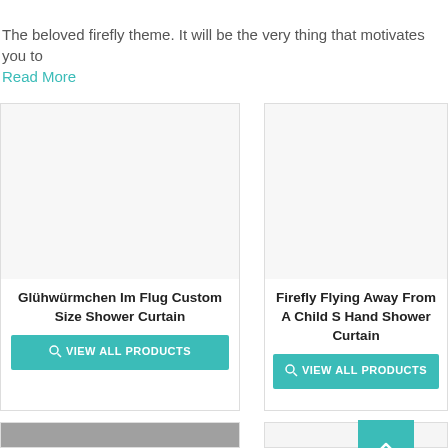The beloved firefly theme. It will be the very thing that motivates you to
Read More
[Figure (photo): Product card image area for Glühwürmchen Im Flug Custom Size Shower Curtain (blank/white product image)]
Glühwürmchen Im Flug Custom Size Shower Curtain
VIEW ALL PRODUCTS
[Figure (photo): Product card image area for Firefly Flying Away From A Child S Hand Shower Curtain (blank/white product image)]
Firefly Flying Away From A Child S Hand Shower Curtain
VIEW ALL PRODUCTS
[Figure (photo): Partially visible bottom-left product card with a photo]
[Figure (photo): Partially visible bottom-right product card]